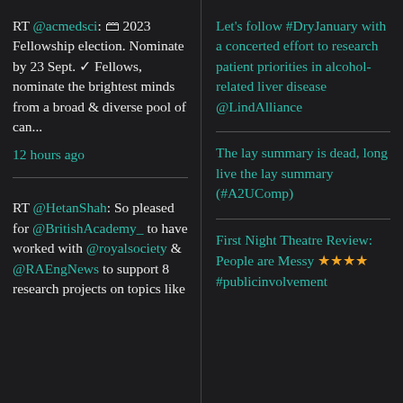RT @acmedsci: 🗃 2023 Fellowship election. Nominate by 23 Sept. ✓ Fellows, nominate the brightest minds from a broad & diverse pool of can...
12 hours ago
RT @HetanShah: So pleased for @BritishAcademy_ to have worked with @royalsociety & @RAEngNews to support 8 research projects on topics like
Let's follow #DryJanuary with a concerted effort to research patient priorities in alcohol-related liver disease @LindAlliance
The lay summary is dead, long live the lay summary (#A2UComp)
First Night Theatre Review: People are Messy ★★★★ #publicinvolvement